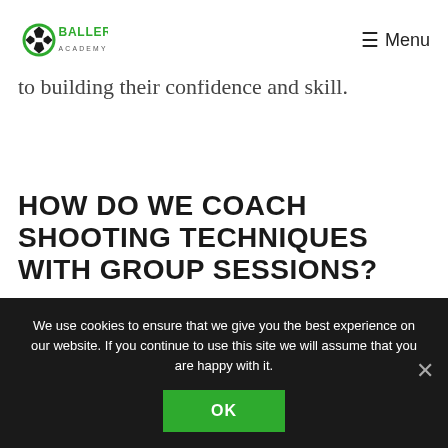Ballers Academy | Menu
to building their confidence and skill.
HOW DO WE COACH SHOOTING TECHNIQUES WITH GROUP SESSIONS?
Accuracy. Accuracy. Accuracy. These are the three A's of our group sessions for building
We use cookies to ensure that we give you the best experience on our website. If you continue to use this site we will assume that you are happy with it.